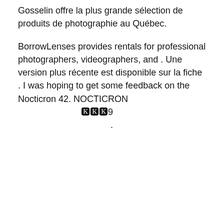Gosselin offre la plus grande sélection de produits de photographie au Québec.
BorrowLenses provides rentals for professional photographers, videographers, and . Une version plus récente est disponible sur la fiche . I was hoping to get some feedback on the Nocticron 42. NOCTICRON 　　　　　　　🄺🄺🄺9　　　　　　　　　　　　　　　　　　　　　　　　　.